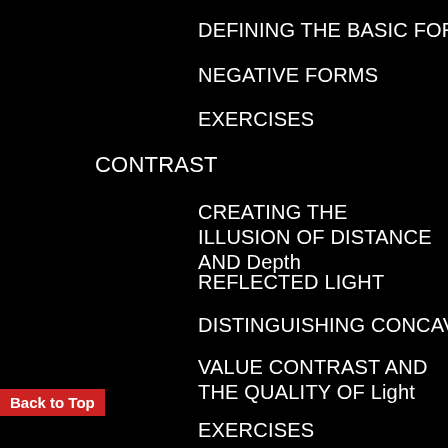DEFINING THE BASIC FORMS WITH VALUE
NEGATIVE FORMS
EXERCISES
CONTRAST
CREATING THE ILLUSION OF DISTANCE AND Depth
REFLECTED LIGHT
DISTINGUISHING CONCAVE FROM CONVEX
VALUE CONTRAST AND THE QUALITY OF Light
EXERCISES
CAST SHADOWS
CAST SHADOWS AND THREE-DIMENSIONAL Form
Back to Top